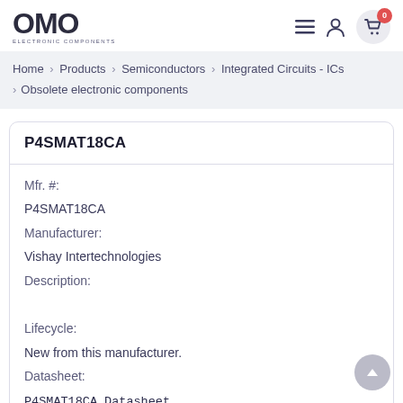OMO ELECTRONIC COMPONENTS — navigation header with menu, user, and cart icons
Home > Products > Semiconductors > Integrated Circuits - ICs > Obsolete electronic components
P4SMAT18CA
Mfr. #:
P4SMAT18CA
Manufacturer:
Vishay Intertechnologies
Description:
Lifecycle:
New from this manufacturer.
Datasheet:
P4SMAT18CA Datasheet